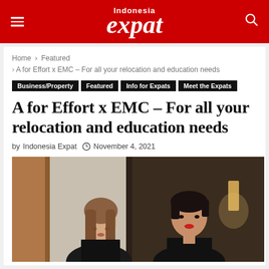Indonesia expat
Home > Featured > A for Effort x EMC – For all your relocation and education needs
Business/Property  Featured  Info for Expats  Meet the Expats
A for Effort x EMC – For all your relocation and education needs
by Indonesia Expat  November 4, 2021
[Figure (photo): Two women in black outfits posing together, one with long hair and one with short dark hair, at an indoor venue with warm lighting and wooden decor in the background.]